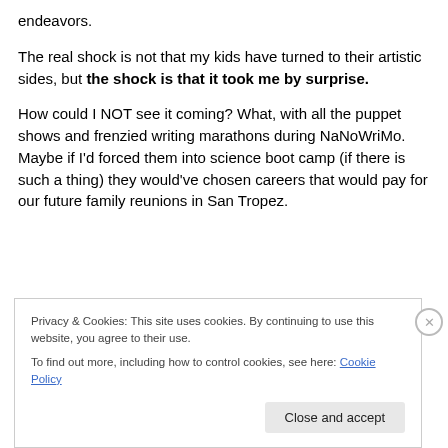endeavors.
The real shock is not that my kids have turned to their artistic sides, but the shock is that it took me by surprise.
How could I NOT see it coming? What, with all the puppet shows and frenzied writing marathons during NaNoWriMo. Maybe if I'd forced them into science boot camp (if there is such a thing) they would've chosen careers that would pay for our future family reunions in San Tropez.
Privacy & Cookies: This site uses cookies. By continuing to use this website, you agree to their use.
To find out more, including how to control cookies, see here: Cookie Policy
Close and accept